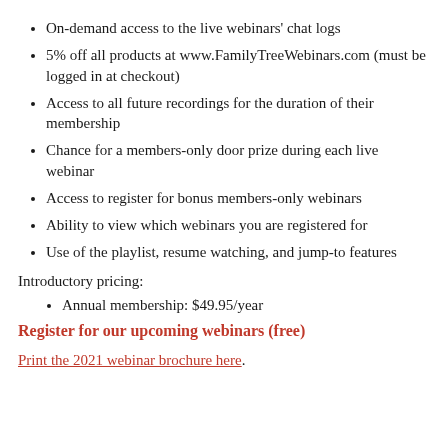On-demand access to the live webinars' chat logs
5% off all products at www.FamilyTreeWebinars.com (must be logged in at checkout)
Access to all future recordings for the duration of their membership
Chance for a members-only door prize during each live webinar
Access to register for bonus members-only webinars
Ability to view which webinars you are registered for
Use of the playlist, resume watching, and jump-to features
Introductory pricing:
Annual membership: $49.95/year
Register for our upcoming webinars (free)
Print the 2021 webinar brochure here.